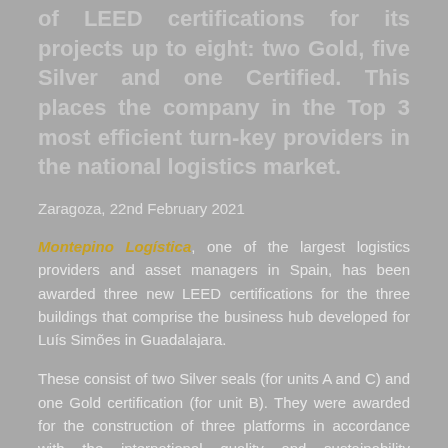of LEED certifications for its projects up to eight: two Gold, five Silver and one Certified. This places the company in the Top 3 most efficient turn-key providers in the national logistics market.
Zaragoza, 22nd February 2021
Montepino Logística, one of the largest logistics providers and asset managers in Spain, has been awarded three new LEED certifications for the three buildings that comprise the business hub developed for Luís Simões in Guadalajara.
These consist of two Silver seals (for units A and C) and one Gold certification (for unit B). They were awarded for the construction of three platforms in accordance with the international quality and sustainability standards endorsed by the US Green Building Council, which focus on the promotion of healthy, long-lasting and environmentally sound buildings, in terms of both design and construction.